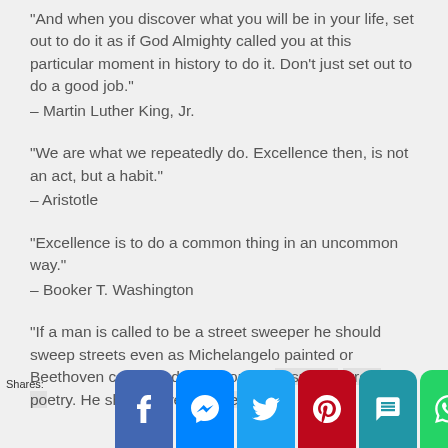“And when you discover what you will be in your life, set out to do it as if God Almighty called you at this particular moment in history to do it. Don’t just set out to do a good job.” – Martin Luther King, Jr.
“We are what we repeatedly do. Excellence then, is not an act, but a habit.” – Aristotle
“Excellence is to do a common thing in an uncommon way.” – Booker T. Washington
“If a man is called to be a street sweeper he should sweep streets even as Michelangelo painted or Beethoven composed music or Shakespeare wrote poetry. He should sweep streets so well...
[Figure (other): Social share bar with buttons: Facebook (thumbs up), Messenger, Twitter, Pinterest, SMS, WhatsApp, and a crown icon button. 'Shares' label on left.]